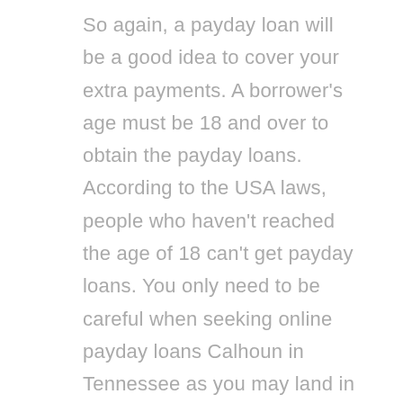So again, a payday loan will be a good idea to cover your extra payments. A borrower's age must be 18 and over to obtain the payday loans. According to the USA laws, people who haven't reached the age of 18 can't get payday loans. You only need to be careful when seeking online payday loans Calhoun in Tennessee as you may land in the hands of scammers. Running out of cash can be devastating and